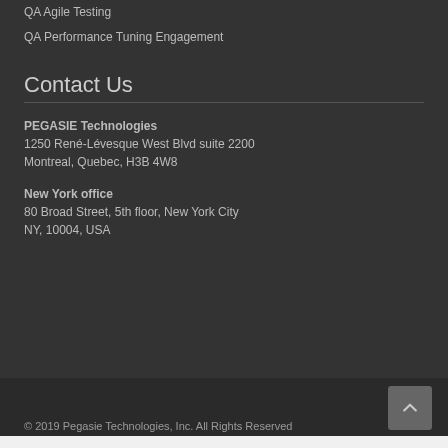QA Agile Testing
QA Performance Tuning Engagement
Contact Us
PEGASIE Technologies
1250 René-Lévesque West Blvd suite 2200
Montreal, Quebec, H3B 4W8
New York office
80 Broad Street, 5th floor, New York City
NY, 10004, USA
© 2019 Pegasie Technologies, Inc. All Rights Reserved